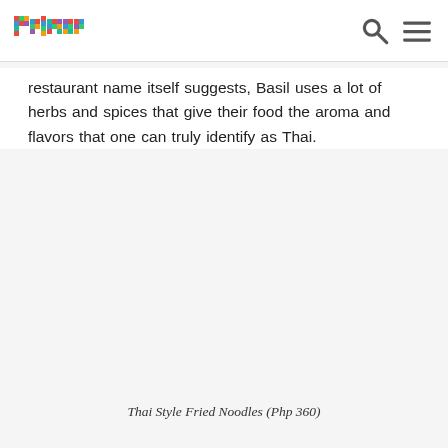primer [logo with search and menu icons]
restaurant name itself suggests, Basil uses a lot of herbs and spices that give their food the aroma and flavors that one can truly identify as Thai.
Thai Style Fried Noodles (Php 360)